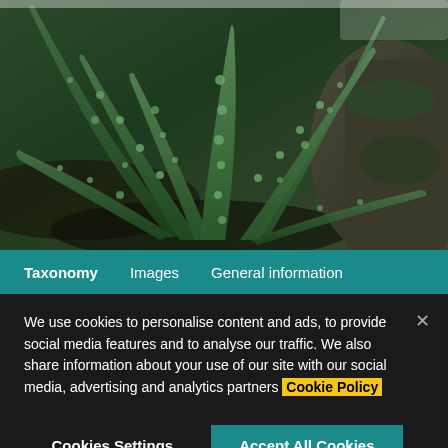[Figure (photo): Close-up photograph of green succulent/fern plant leaves with small round bumps (sori or tubercles), arranged against dark rocky background with moss]
Taxonomy   Images   General information
We use cookies to personalise content and ads, to provide social media features and to analyse our traffic. We also share information about your use of our site with our social media, advertising and analytics partners Cookie Policy
Cookies Settings
Accept All Cookies